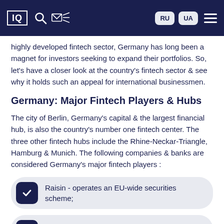IQ [search] [mail] RU UA [menu]
highly developed fintech sector, Germany has long been a magnet for investors seeking to expand their portfolios. So, let's have a closer look at the country's fintech sector & see why it holds such an appeal for international businessmen.
Germany: Major Fintech Players & Hubs
The city of Berlin, Germany's capital & the largest financial hub, is also the country's number one fintech center. The three other fintech hubs include the Rhine-Neckar-Triangle, Hamburg & Munich. The following companies & banks are considered Germany's major fintech players :
Raisin - operates an EU-wide securities scheme;
N26 - an application-based bank;